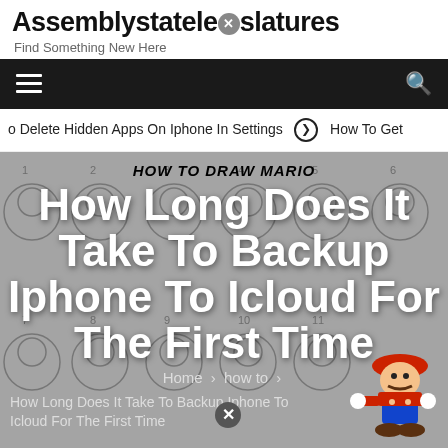Assemblystatelegislatures — Find Something New Here
HOW TO DRAW MARIO
How Long Does It Take To Backup Iphone To Icloud For The First Time
o Delete Hidden Apps On Iphone In Settings  ➡  How To Get
Home > how to > How Long Does It Take To Backup Iphone To Icloud For The First Time